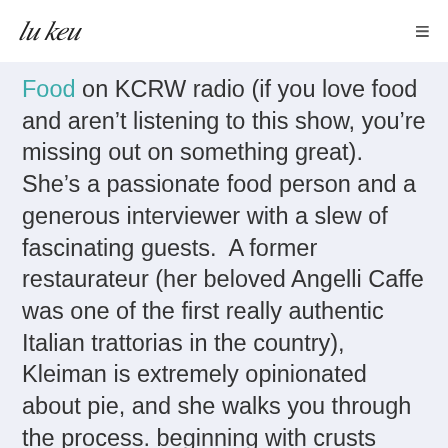Paul Keur [signature logo] ≡
Food on KCRW radio (if you love food and aren't listening to this show, you're missing out on something great). She's a passionate food person and a generous interviewer with a slew of fascinating guests.  A former restaurateur (her beloved Angelli Caffe was one of the first really authentic Italian trattorias in the country), Kleiman is extremely opinionated about pie, and she walks you through the process. beginning with crusts (flour, graham cracker, easy cream cheese, etc.) and ending with toppings (meringue, whipped cream, various crumbles).  There are 20 different pies here, enough to interest even